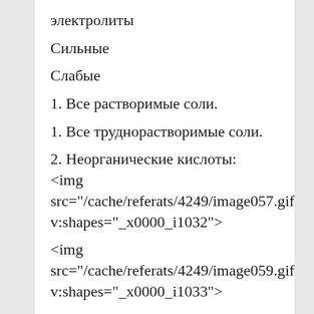электролиты
Сильные
Слабые
1. Все растворимые соли.
1. Все труднорастворимые соли.
2. Неорганические кислоты: <img src="/cache/referats/4249/image057.gif" v:shapes="_x0000_i1032">
<img src="/cache/referats/4249/image059.gif" v:shapes="_x0000_i1033">